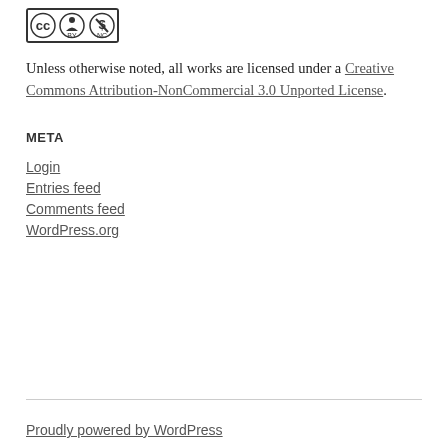[Figure (logo): Creative Commons CC BY NC license badge with three circular icons]
Unless otherwise noted, all works are licensed under a Creative Commons Attribution-NonCommercial 3.0 Unported License.
META
Login
Entries feed
Comments feed
WordPress.org
Proudly powered by WordPress